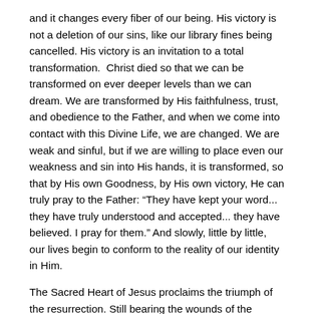and it changes every fiber of our being. His victory is not a deletion of our sins, like our library fines being cancelled. His victory is an invitation to a total transformation.  Christ died so that we can be transformed on ever deeper levels than we can dream. We are transformed by His faithfulness, trust, and obedience to the Father, and when we come into contact with this Divine Life, we are changed. We are weak and sinful, but if we are willing to place even our weakness and sin into His hands, it is transformed, so that by His own Goodness, by His own victory, He can truly pray to the Father: “They have kept your word... they have truly understood and accepted... they have believed. I pray for them.” And slowly, little by little, our lives begin to conform to the reality of our identity in Him.
The Sacred Heart of Jesus proclaims the triumph of the resurrection. Still bearing the wounds of the passion,